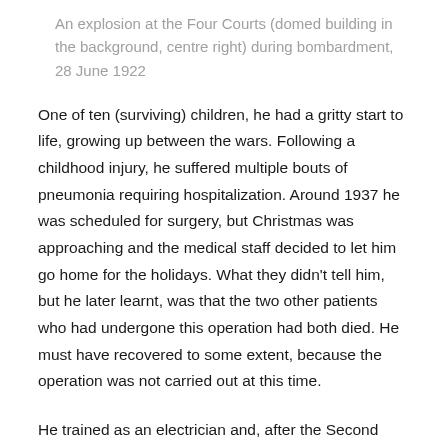An explosion at the Four Courts (domed building in the background, centre right) during bombardment, 28 June 1922
One of ten (surviving) children, he had a gritty start to life, growing up between the wars. Following a childhood injury, he suffered multiple bouts of pneumonia requiring hospitalization. Around 1937 he was scheduled for surgery, but Christmas was approaching and the medical staff decided to let him go home for the holidays. What they didn't tell him, but he later learnt, was that the two other patients who had undergone this operation had both died. He must have recovered to some extent, because the operation was not carried out at this time.
He trained as an electrician and, after the Second World War, like many of his compatriots, he travelled to England